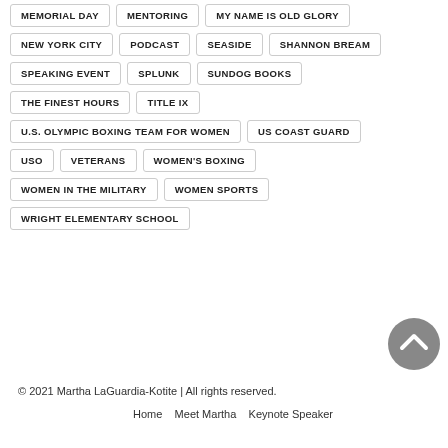MEMORIAL DAY
MENTORING
MY NAME IS OLD GLORY
NEW YORK CITY
PODCAST
SEASIDE
SHANNON BREAM
SPEAKING EVENT
SPLUNK
SUNDOG BOOKS
THE FINEST HOURS
TITLE IX
U.S. OLYMPIC BOXING TEAM FOR WOMEN
US COAST GUARD
USO
VETERANS
WOMEN'S BOXING
WOMEN IN THE MILITARY
WOMEN SPORTS
WRIGHT ELEMENTARY SCHOOL
© 2021 Martha LaGuardia-Kotite | All rights reserved.
Home   Meet Martha   Keynote Speaker